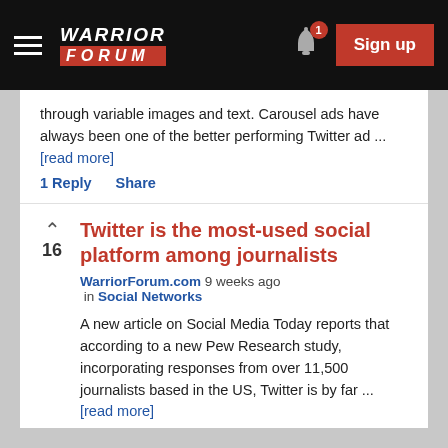Warrior Forum — navigation bar with hamburger menu, logo, notification bell (1), Sign up button
through variable images and text. Carousel ads have always been one of the better performing Twitter ad ... [read more]
1 Reply   Share
Twitter is the most-used social platform among journalists
WarriorForum.com 9 weeks ago in Social Networks
A new article on Social Media Today reports that according to a new Pew Research study, incorporating responses from over 11,500 journalists based in the US, Twitter is by far ... [read more]
12 Replies   Share
1  2  3  NEXT ▶